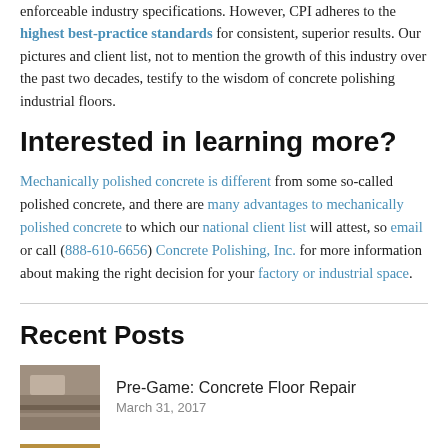enforceable industry specifications. However, CPI adheres to the highest best-practice standards for consistent, superior results. Our pictures and client list, not to mention the growth of this industry over the past two decades, testify to the wisdom of concrete polishing industrial floors.
Interested in learning more?
Mechanically polished concrete is different from some so-called polished concrete, and there are many advantages to mechanically polished concrete to which our national client list will attest, so email or call (888-610-6656) Concrete Polishing, Inc. for more information about making the right decision for your factory or industrial space.
Recent Posts
Pre-Game: Concrete Floor Repair — March 31, 2017